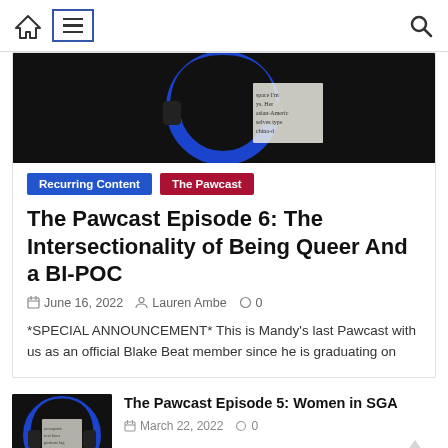Navigation bar with home icon, menu icon, search icon
[Figure (photo): Podcast logo with blue circular design and headphones on dark background, partially visible text overlay]
Recurring Content | The Pawcast
The Pawcast Episode 6: The Intersectionality of Being Queer And a BI-POC
June 16, 2022  Lauren Ambe  0
*SPECIAL ANNOUNCEMENT* This is Mandy's last Pawcast with us as an official Blake Beat member since he is graduating on
[Figure (photo): Podcast logo thumbnail with blue circular design and headphones]
The Pawcast Episode 5: Women in SGA
March 22, 2022  0